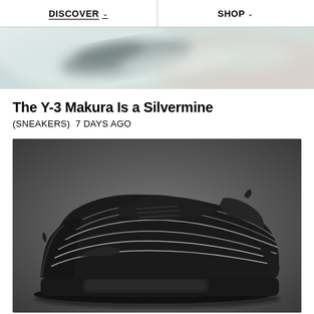DISCOVER   SHOP
[Figure (photo): Close-up product detail photo showing part of a sneaker, light background with blurred shapes]
The Y-3 Makura Is a Silvermine
(SNEAKERS)  7 DAYS AGO
[Figure (photo): Nike Air Max 97 sneaker in black colorway with silver wave stripes on a dark grey background, side profile view]